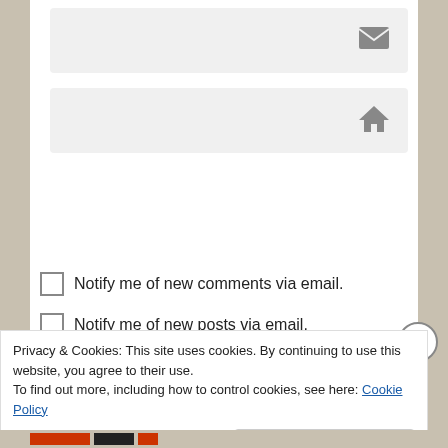[Figure (screenshot): Email input field with envelope icon on the right]
[Figure (screenshot): Website URL input field with house/home icon on the right]
[Figure (screenshot): Dark grey 'Post Comment' button]
Notify me of new comments via email.
Notify me of new posts via email.
Privacy & Cookies: This site uses cookies. By continuing to use this website, you agree to their use.
To find out more, including how to control cookies, see here: Cookie Policy
Close and accept